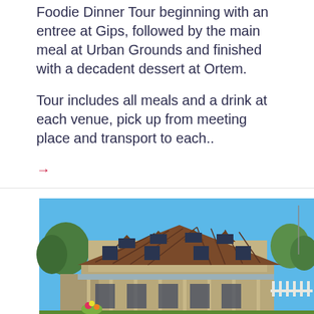Foodie Dinner Tour beginning with an entree at Gips, followed by the main meal at Urban Grounds and finished with a decadent dessert at Ortem.
Tour includes all meals and a drink at each venue, pick up from meeting place and transport to each..
→
[Figure (photo): Exterior photo of the Royal Bull's Head Inn — a historic Australian colonial building with a corrugated iron roof and multiple dormer windows, a verandah with posts along the front, surrounded by trees and garden with a white picket fence visible on the right. Blue sky background.]
Petals and High Tea at the Royal Bull's Head Inn